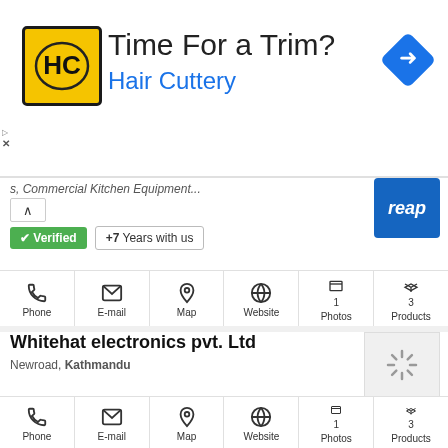[Figure (screenshot): Advertisement banner for Hair Cuttery with logo, title 'Time For a Trim?', subtitle 'Hair Cuttery', and a navigation arrow icon]
s, Commercial Kitchen Equipment...
✓ Verified  +7  Years with us
[Figure (logo): Blue logo placeholder for a business listing]
[Figure (infographic): Action icons row: Phone, E-mail, Map, Website, 1 Photos, 3 Products]
Whitehat electronics pvt. Ltd
Newroad, Kathmandu
About Us ElectronicsPasal.com is trademark of White Hat Electronics, where our motto is to provide our customer with ultimate online buying experience.
✓ Verified  +3  Years with us
[Figure (photo): Loading spinner placeholder image for Whitehat electronics]
[Figure (infographic): Action icons row: Phone, E-mail, Map, Website, 1 Photos, 3 Products]